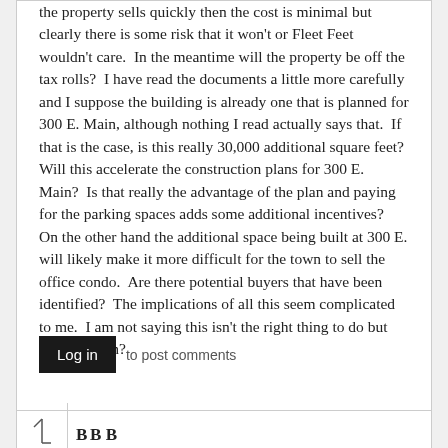the property sells quickly then the cost is minimal but clearly there is some risk that it won't or Fleet Feet wouldn't care.  In the meantime will the property be off the tax rolls?  I have read the documents a little more carefully and I suppose the building is already one that is planned for 300 E. Main, although nothing I read actually says that.  If that is the case, is this really 30,000 additional square feet?  Will this accelerate the construction plans for 300 E. Main?  Is that really the advantage of the plan and paying for the parking spaces adds some additional incentives?  On the other hand the additional space being built at 300 E. will likely make it more difficult for the town to sell the office condo.  Are there potential buyers that have been identified?  The implications of all this seem complicated to me.  I am not saying this isn't the right thing to do but why the rush?
Log in to post comments